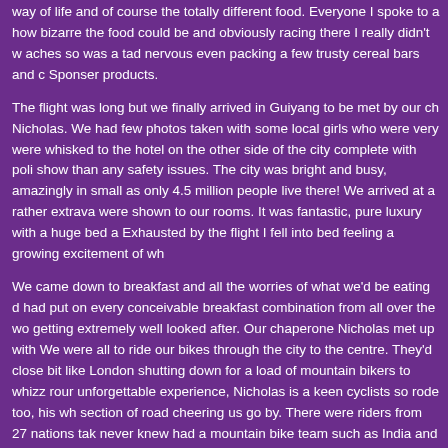way of life and of course the totally different food. Everyone I spoke to a how bizarre the food could be and obviously racing there I really didn't w aches so was a tad nervous even packing a few trusty cereal bars and c Sponser products.
The flight was long but we finally arrived in Guiyang to be met by our ch Nicholas. We had few photos taken with some local girls who were very were whisked to the hotel on the other side of the city complete with poli show than any safety issues. The city was bright and busy, amazingly in small as only 4.5 million people live there! We arrived at a rather extrava were shown to our rooms. It was fantastic, pure luxury with a huge bed a Exhausted by the flight I fell into bed feeling a growing excitement of wh
We came down to breakfast and all the worries of what we'd be eating d had put on every conceivable breakfast combination from all over the wo getting extremely well looked after. Our chaperone Nicholas met up with We were all to ride our bikes through the city to the centre. They'd close bit like London shutting down for a load of mountain bikers to whizz rour unforgettable experience, Nicholas is a keen cyclists so rode too, his wh section of road cheering us go by. There were riders from 27 nations tak never knew had a mountain bike team such as India and Aruba. We the on a bus back to the hotel complete with bikes. Our first glimpse of the c lunch. It had been raining quite a lot so we were told it was a bit muddy. minute ride away from the hotel, the Chinese drivers seem to make up t they go along so we had a police escort on the way there. It was pretty c